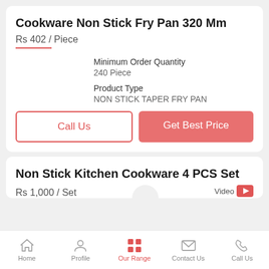Cookware Non Stick Fry Pan 320 Mm
Rs 402 / Piece
Minimum Order Quantity
240 Piece
Product Type
NON STICK TAPER FRY PAN
Call Us
Get Best Price
Non Stick Kitchen Cookware 4 PCS Set
Rs 1,000 / Set
Video
Home  Profile  Our Range  Contact Us  Call Us